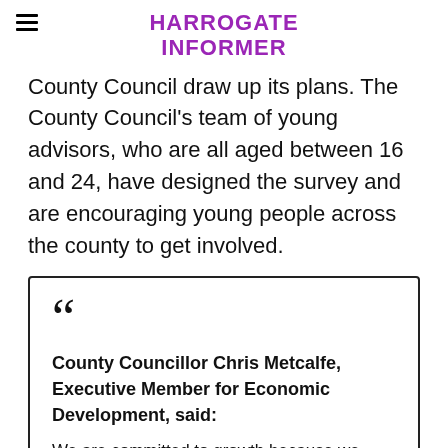HARROGATE INFORMER
County Council draw up its plans. The County Council's team of young advisors, who are all aged between 16 and 24, have designed the survey and are encouraging young people across the county to get involved.
County Councillor Chris Metcalfe, Executive Member for Economic Development, said: We are committed to growth because we believe it will benefit residents, for example by